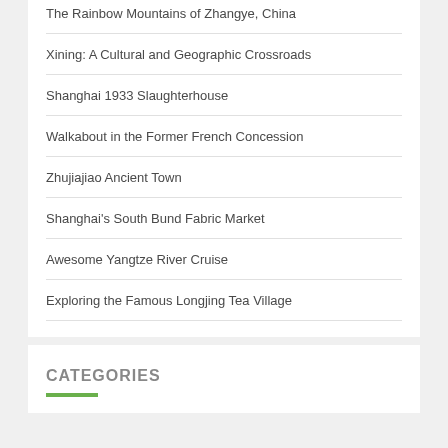The Rainbow Mountains of Zhangye, China
Xining: A Cultural and Geographic Crossroads
Shanghai 1933 Slaughterhouse
Walkabout in the Former French Concession
Zhujiajiao Ancient Town
Shanghai's South Bund Fabric Market
Awesome Yangtze River Cruise
Exploring the Famous Longjing Tea Village
CATEGORIES